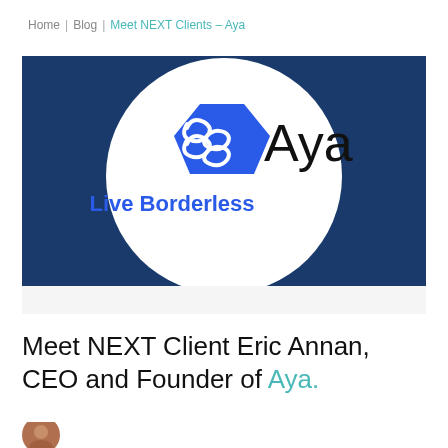Home | Blog | Meet NEXT Clients – Aya
[Figure (logo): Aya company logo on a dark blue background with a white circular area. Blue pentagon-shaped icon with wave/infinity symbol, text 'Aya' and tagline 'Live Borderless']
Meet NEXT Client Eric Annan, CEO and Founder of Aya.
[Figure (photo): Small circular avatar photo of a person, partially visible at bottom of page]